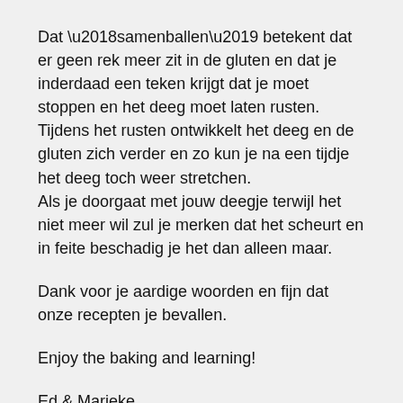Dat ‘samenballen’ betekent dat er geen rek meer zit in de gluten en dat je inderdaad een teken krijgt dat je moet stoppen en het deeg moet laten rusten. Tijdens het rusten ontwikkelt het deeg en de gluten zich verder en zo kun je na een tijdje het deeg toch weer stretchen. Als je doorgaat met jouw deegje terwijl het niet meer wil zul je merken dat het scheurt en in feite beschadig je het dan alleen maar.
Dank voor je aardige woorden en fijn dat onze recepten je bevallen.
Enjoy the baking and learning!
Ed & Marieke